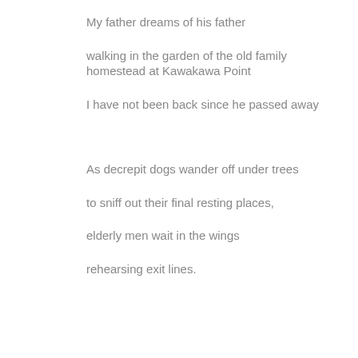My father dreams of his father

walking in the garden of the old family homestead at Kawakawa Point

I have not been back since he passed away



As decrepit dogs wander off under trees

to sniff out their final resting places,

elderly men wait in the wings

rehearsing exit lines.